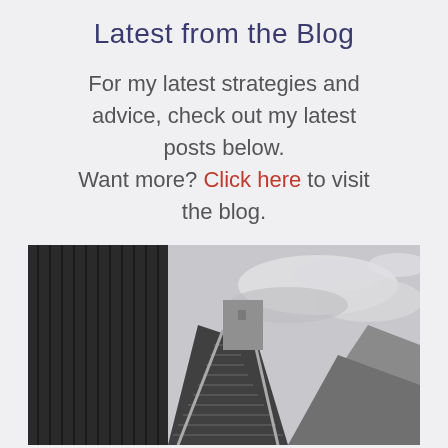Latest from the Blog
For my latest strategies and advice, check out my latest posts below. Want more? Click here to visit the blog.
[Figure (photo): Black and white photo of a staircase leading upward between dark ribbed walls on the left and a concrete railing on the right, shot from a low angle with a dramatic sky above]